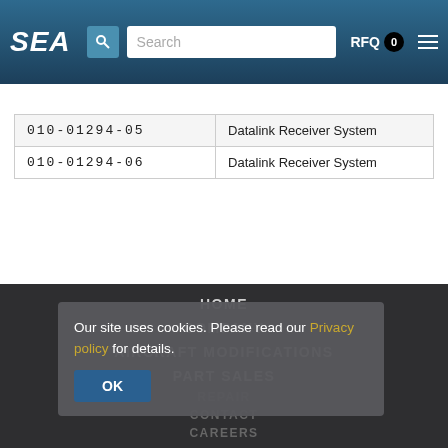SEA | Search | RFQ 0
| 010-01294-05 | Datalink Receiver System |
| 010-01294-06 | Datalink Receiver System |
HOME
COMPANY
AIRCRAFT MODIFICATIONS
PART SALES
REPAIR
CONTACT
CAREERS
Our site uses cookies. Please read our Privacy policy for details.
OK